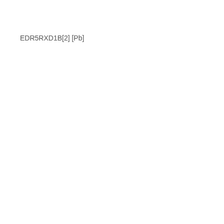EDR5RXD1B[2] [Pb]    EDR5RXD1B    240(1)